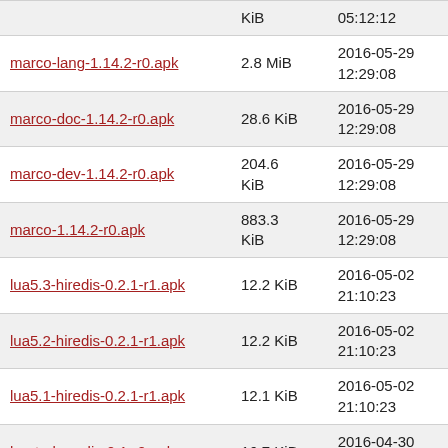| [truncated top row] | KiB | 05:12:12 |
| marco-lang-1.14.2-r0.apk | 2.8 MiB | 2016-05-29 12:29:08 |
| marco-doc-1.14.2-r0.apk | 28.6 KiB | 2016-05-29 12:29:08 |
| marco-dev-1.14.2-r0.apk | 204.6 KiB | 2016-05-29 12:29:08 |
| marco-1.14.2-r0.apk | 883.3 KiB | 2016-05-29 12:29:08 |
| lua5.3-hiredis-0.2.1-r1.apk | 12.2 KiB | 2016-05-02 21:10:23 |
| lua5.2-hiredis-0.2.1-r1.apk | 12.2 KiB | 2016-05-02 21:10:23 |
| lua5.1-hiredis-0.2.1-r1.apk | 12.1 KiB | 2016-05-02 21:10:23 |
| lua-turboredis-0.1-r0.apk | 16.7 KiB | 2016-04-30 05:12:12 |
| lua-hiredis-0.2.1-r1.apk | 2.7 KiB | 2016-05-02 21:10:23 |
| ltb-project-ssp-0.8-r5.apk | 181.6 KiB | 2016-05-05 15:57:55 |
| lsscsj-doc-0.28-r0.apk | 15.8 KiB | 2016-04-30 05:12:12 |